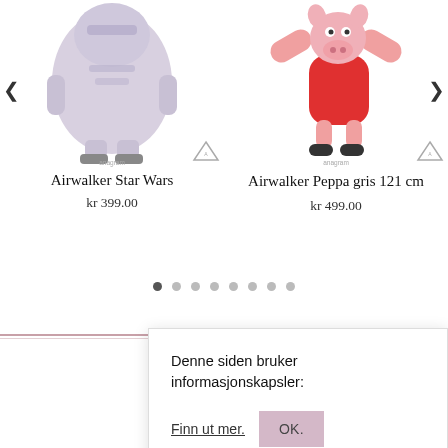[Figure (photo): Airwalker Star Wars balloon product image with Anagram logo watermark]
Airwalker Star Wars
kr 399.00
[Figure (photo): Airwalker Peppa gris balloon product image with Anagram logo watermark]
Airwalker Peppa gris 121 cm
kr 499.00
[Figure (other): Carousel navigation dots, 8 total, first one active/filled]
Denne siden bruker informasjonskapsler:
Finn ut mer.
OK.
[Figure (photo): Partial balloon product image at bottom of page]